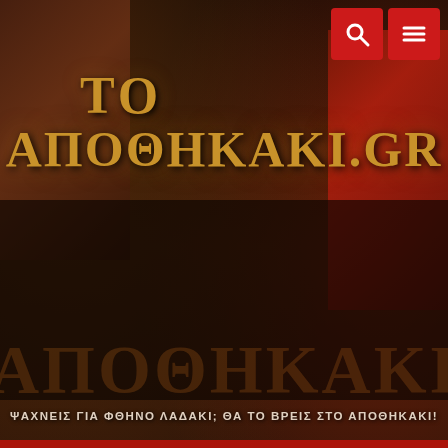[Figure (screenshot): Website screenshot of toApothikaki.gr — a Greek auto parts/oil filters e-commerce site. Dark wood-textured background with vintage automotive signs. Two red icon buttons (search, menu) top right. Large golden styled logo text 'ΤΟ ΑΠΟΘΗΚΑΚΙ.GR'. Red cart bar showing ΚΑΛΑΘΙ 0,00 €. Breadcrumb navigation: Αρχική Σελίδα > ΦΙΛΤΡΑ AUTO > ΦΙΛΤΡΑ ΛΑΔΙΟΥ > ΦΙΛΤΡΑ ΛΑΔΙΟΥ SCT >]
ΤΟ ΑΠΟΘΗΚΑΚΙ.GR
ΨΑΧΝΕΙΣ ΓΙΑ ΦΘΗΝΟ ΛΑΔΑΚΙ; ΘΑ ΤΟ ΒΡΕΙΣ ΣΤΟ ΑΠΟΘΗΚΑΚΙ!
ΚΑΛΑΘΙ 0,00 €
Αρχική Σελίδα > ΦΙΛΤΡΑ AUTO > ΦΙΛΤΡΑ ΛΑΔΙΟΥ > ΦΙΛΤΡΑ ΛΑΔΙΟΥ SCT >